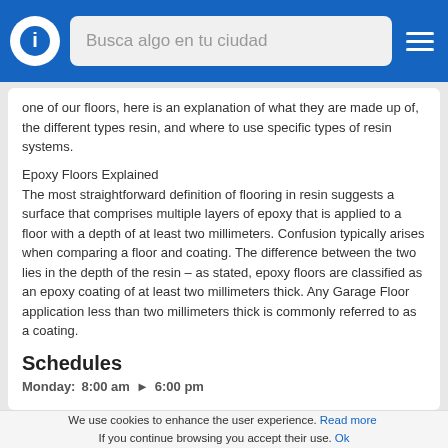Busca algo en tu ciudad
one of our floors, here is an explanation of what they are made up of, the different types resin, and where to use specific types of resin systems.
Epoxy Floors Explained
The most straightforward definition of flooring in resin suggests a surface that comprises multiple layers of epoxy that is applied to a floor with a depth of at least two millimeters. Confusion typically arises when comparing a floor and coating. The difference between the two lies in the depth of the resin – as stated, epoxy floors are classified as an epoxy coating of at least two millimeters thick. Any Garage Floor application less than two millimeters thick is commonly referred to as a coating.
Rock Candy Epoxy Products Rockford address and phone
Last update: 2022-01-06 22:35:11
Schedules
Monday: 8:00 am ► 6:00 pm
We use cookies to enhance the user experience. Read more If you continue browsing you accept their use. Ok